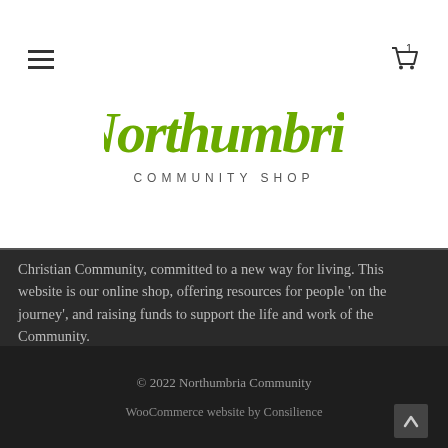[Figure (logo): Northumbria Community Shop logo with stylized cursive green text and 'COMMUNITY SHOP' in spaced capitals below]
Christian Community, committed to a new way for living. This website is our online shop, offering resources for people 'on the journey', and raising funds to support the life and work of the Community. Browse our products here, or visit our main website for more information about the Northumbria Community
© 2022 Northumbria Community
WooCommerce website by Consilience